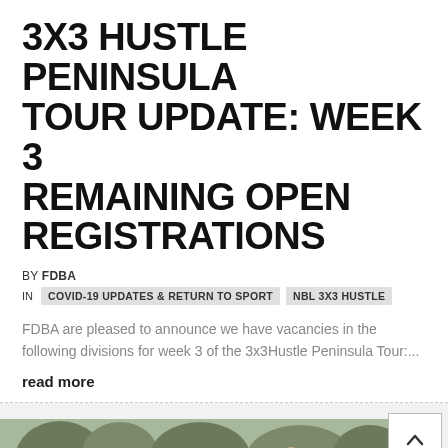3X3 HUSTLE PENINSULA TOUR UPDATE: WEEK 3 REMAINING OPEN REGISTRATIONS
BY FDBA
IN  COVID-19 UPDATES & RETURN TO SPORT  NBL 3X3 HUSTLE
FDBA are pleased to announce we have vacancies in the following divisions for week 3 of the 3x3Hustle Peninsula Tour:...
read more
[Figure (photo): Children playing 3x3 basketball outdoors on a court, wearing blue and black jerseys, number 30 visible]